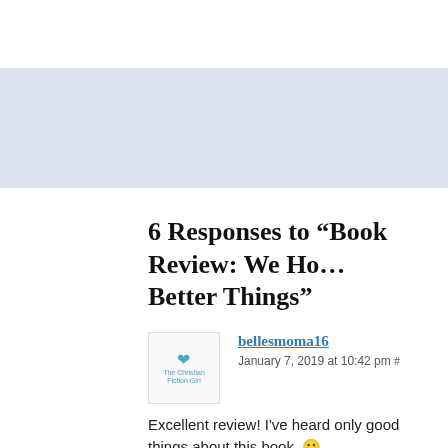6 Responses to “Book Review: We Ho… Better Things”
bellesmoma16
January 7, 2019 at 10:42 pm #
Excellent review! I’ve heard only good things about this book. 😀
★ Loading...
rbclibrary
January 8, 2019 at 4:53 pm #